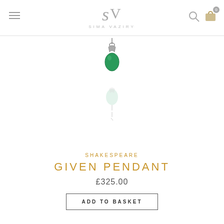[Figure (logo): Sima Vaziry logo with stylized SV monogram and brand name]
[Figure (photo): Green gemstone teardrop pendant with silver wire setting and clasp, shown with its reflection below]
SHAKESPEARE
GIVEN PENDANT
£325.00
ADD TO BASKET